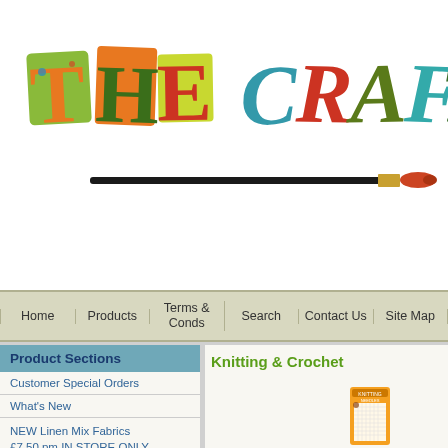[Figure (logo): The Crafty shop logo with colorful hand-drawn style letters 'THE CRAFTY' and a paint brush below]
| Home | Products | Terms & Conds | Search | Contact Us | Site Map |
| --- | --- | --- | --- | --- | --- |
Product Sections
Customer Special Orders
What's New
NEW Linen Mix Fabrics £7.50 pm IN STORE ONLY
Jubilee Fabrics
Knitting & Crochet
[Figure (photo): Product packaging for knitting/crochet needles or pins in orange packaging]